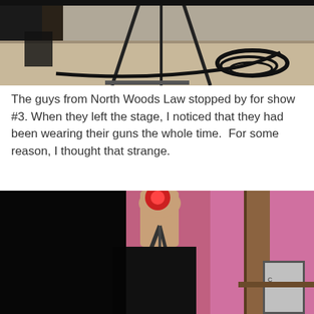[Figure (photo): A stage floor with microphone stand legs, cables, and equipment visible from a low angle. The floor appears to be a dark grey/tan color with black cables and equipment.]
The guys from North Woods Law stopped by for show #3. When they left the stage, I noticed that they had been wearing their guns the whole time.  For some reason, I thought that strange.
[Figure (photo): A person holding a camera or microphone in a studio or stage setting with pink/purple lighting. A wooden panel and what appears to be a sign or graphic are visible in the background.]